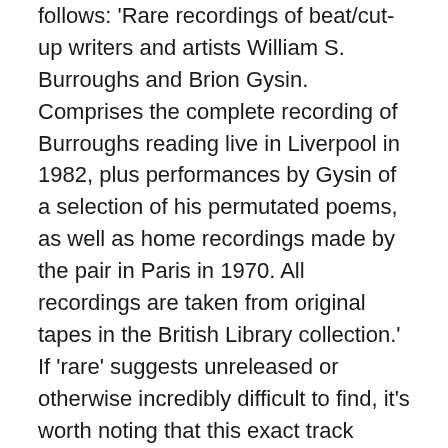follows: 'Rare recordings of beat/cut-up writers and artists William S. Burroughs and Brion Gysin. Comprises the complete recording of Burroughs reading live in Liverpool in 1982, plus performances by Gysin of a selection of his permutated poems, as well as home recordings made by the pair in Paris in 1970. All recordings are taken from original tapes in the British Library collection.' If 'rare' suggests unreleased or otherwise incredibly difficult to find, it's worth noting that this exact track listing was released on CD, with a running time of sixty-six minutes, in 2012 by the British Library on its own label under the title The Spoken Word, credited to William S. Burroughs and Brion Gysin and is available via Discogs for a tenner. The cover image is also the same as the British Library release. That said, of all the Burroughs CDs I own, this isn't among them, and I've never seen a copy or heard the majority of the material, and in my experience this is one of